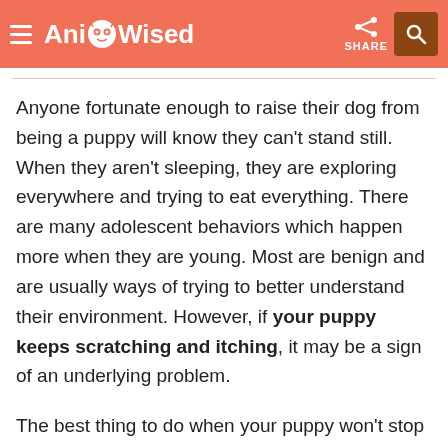AnimalWised — SHARE
Anyone fortunate enough to raise their dog from being a puppy will know they can't stand still. When they aren't sleeping, they are exploring everywhere and trying to eat everything. There are many adolescent behaviors which happen more when they are young. Most are benign and are usually ways of trying to better understand their environment. However, if your puppy keeps scratching and itching, it may be a sign of an underlying problem.
The best thing to do when your puppy won't stop scratching is to take them to the veterinarian. They will provide an examination, diagnose the problem and implement an appropriate course of treatment. While this AnimalWised article is not a substitute for a professional diagnosis, it can help us to understand the reasons why